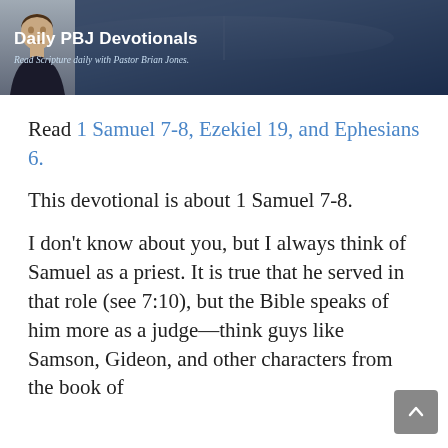[Figure (illustration): Daily PBJ Devotionals banner with photo of Pastor Brian Jones on left and text 'Daily PBJ Devotionals - Read Scripture daily with Pastor Brian Jones.' on dark navy background, open Bible in background.]
Read 1 Samuel 7-8, Ezekiel 19, and Ephesians 6.
This devotional is about 1 Samuel 7-8.
I don’t know about you, but I always think of Samuel as a priest. It is true that he served in that role (see 7:10), but the Bible speaks of him more as a judge—think guys like Samson, Gideon, and other characters from the book of